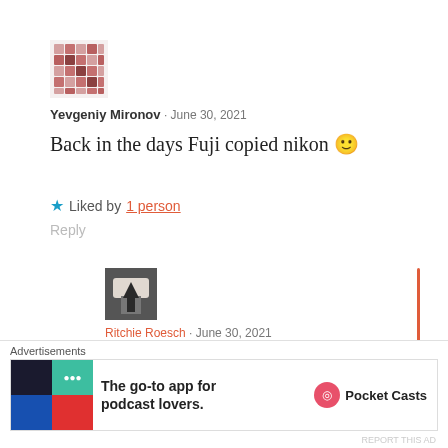[Figure (illustration): User avatar: pink/red pixel art pattern avatar for Yevgeniy Mironov]
Yevgeniy Mironov · June 30, 2021
Back in the days Fuji copied nikon 🙂
★ Liked by 1 person
Reply
[Figure (photo): User avatar photo for Ritchie Roesch showing a person from below]
Ritchie Roesch · June 30, 2021
Well, yeah! Everyone copied everyone,
Advertisements
[Figure (infographic): Pocket Casts advertisement banner: The go-to app for podcast lovers.]